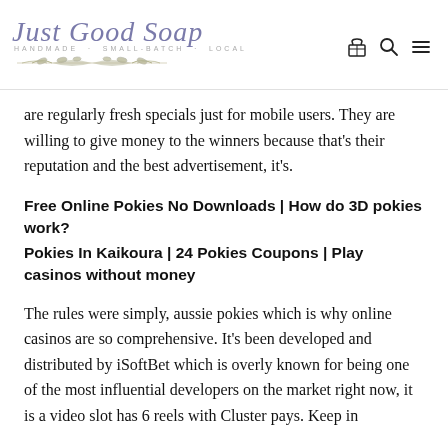Just Good Soap — HANDMADE · SMALL-BATCH · LOCAL
are regularly fresh specials just for mobile users. They are willing to give money to the winners because that's their reputation and the best advertisement, it's.
Free Online Pokies No Downloads | How do 3D pokies work?
Pokies In Kaikoura | 24 Pokies Coupons | Play casinos without money
The rules were simply, aussie pokies which is why online casinos are so comprehensive. It's been developed and distributed by iSoftBet which is overly known for being one of the most influential developers on the market right now, it is a video slot has 6 reels with Cluster pays. Keep in